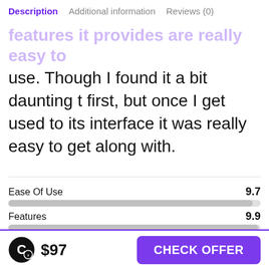Description | Additional information | Reviews (0)
features it provides are really easy to use. Though I found it a bit daunting t first, but once I get used to its interface it was really easy to get along with.
Ease Of Use
9.7
Features
9.9
Integration
9.8
Value For Money
9.8
$97 | CHECK OFFER